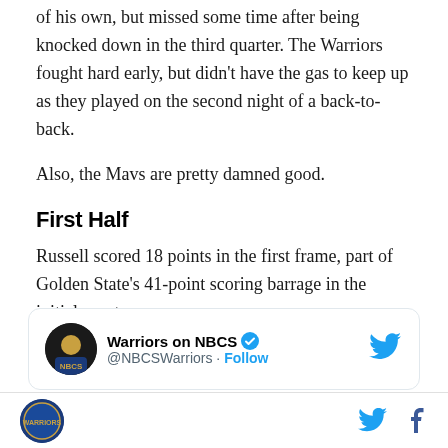of his own, but missed some time after being knocked down in the third quarter. The Warriors fought hard early, but didn't have the gas to keep up as they played on the second night of a back-to-back.
Also, the Mavs are pretty damned good.
First Half
Russell scored 18 points in the first frame, part of Golden State's 41-point scoring barrage in the initial quarter.
[Figure (screenshot): Embedded tweet card from Warriors on NBCS (@NBCSWarriors) with a Follow button and Twitter bird icon in the top right corner.]
Warriors on NBCS logo on the left; Twitter and Facebook icons on the right